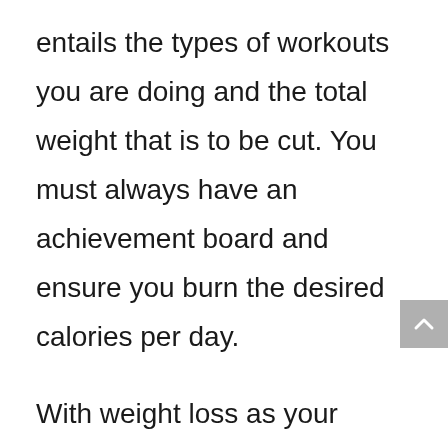entails the types of workouts you are doing and the total weight that is to be cut. You must always have an achievement board and ensure you burn the desired calories per day.
With weight loss as your primary goal, create a sustainable calorie deficit with both diet and exercise. It is not always easy to find the best calorie deficit for your body, and it may take a series of trials and errors before you finally find something to settle on. One way to go about this is by finding your maintenance calorie level to begin. You need to keep track